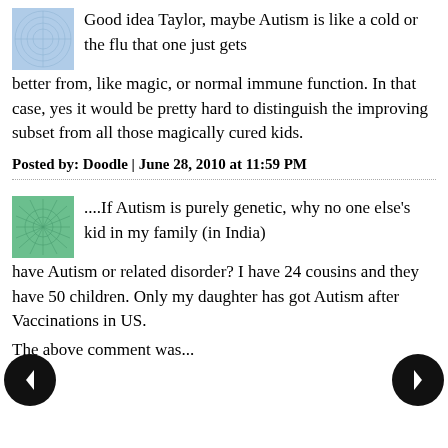Good idea Taylor, maybe Autism is like a cold or the flu that one just gets better from, like magic, or normal immune function. In that case, yes it would be pretty hard to distinguish the improving subset from all those magically cured kids.
Posted by: Doodle | June 28, 2010 at 11:59 PM
....If Autism is purely genetic, why no one else's kid in my family (in India) have Autism or related disorder? I have 24 cousins and they have 50 children. Only my daughter has got Autism after Vaccinations in US.
The above comment was...